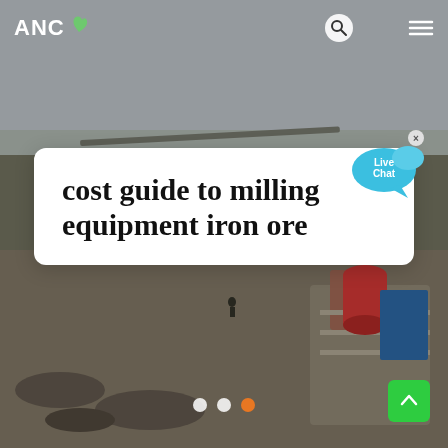[Figure (photo): Aerial view of an iron ore mining site with conveyor belts, machinery, and industrial milling equipment in a landscape with bare trees and overcast sky.]
ANC
cost guide to milling equipment iron ore